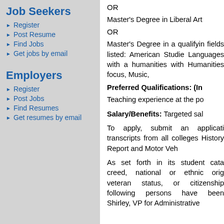Job Seekers
Register
Post Resume
Find Jobs
Get jobs by email
Employers
Register
Post Jobs
Find Resumes
Get resumes by email
OR
Master's Degree in Liberal Art
OR
Master's Degree in a qualifying fields listed: American Studies, Languages with a humanities with Humanities focus, Music,
Preferred Qualifications: (In
Teaching experience at the po
Salary/Benefits: Targeted sal
To apply, submit an application transcripts from all colleges History Report and Motor Veh
As set forth in its student catalog, creed, national or ethnic origin, veteran status, or citizenship following persons have been Shirley, VP for Administrative